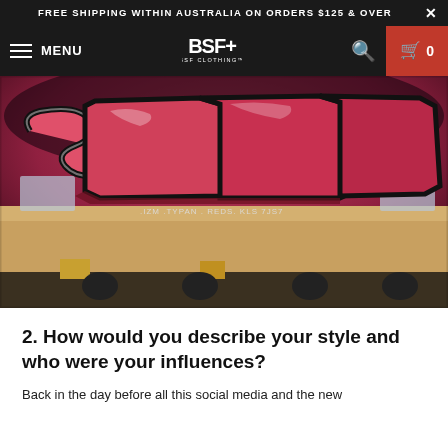FREE SHIPPING WITHIN AUSTRALIA ON ORDERS $125 & OVER
[Figure (screenshot): Navigation bar with hamburger menu (MENU), BSF Clothing logo, search icon, and red cart button showing 0]
[Figure (photo): Photo of graffiti art on a train car with large pink/red bubble-style letters, tags reading .IZM.TYPAN. REDS. and other tags]
2. How would you describe your style and who were your influences?
Back in the day before all this social media and the new...